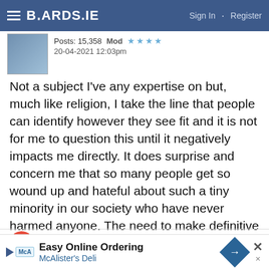BOARDS.IE  Sign In  ·  Register
Posts: 15,358    Mod ★★★★
20-04-2021 12:03pm
Not a subject I've any expertise on but, much like religion, I take the line that people can identify however they see fit and it is not for me to question this until it negatively impacts me directly. It does surprise and concern me that so many people get so wound up and hateful about such a tiny minority in our society who have never harmed anyone. The need to make definitive statements about who or what other people are, or how they should behave when they're not impinging on anyone else, is, to my mind, deeply unpleasant.
lazygal
[Figure (infographic): Advertisement banner: Easy Online Ordering - McAlister's Deli with play button icon and blue diamond arrow icon, with X close button]